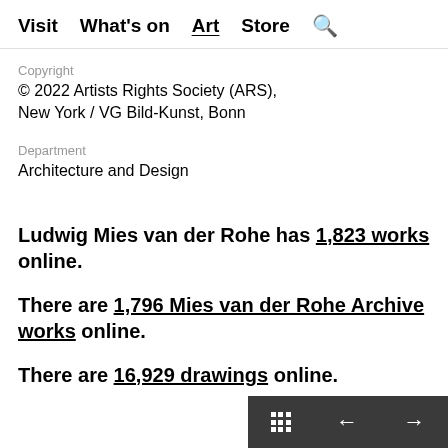Visit  What's on  Art  Store  🔍
Copyright
© 2022 Artists Rights Society (ARS), New York / VG Bild-Kunst, Bonn
Department
Architecture and Design
Ludwig Mies van der Rohe has 1,823 works online.
There are 1,796 Mies van der Rohe Archive works online.
There are 16,929 drawings online.